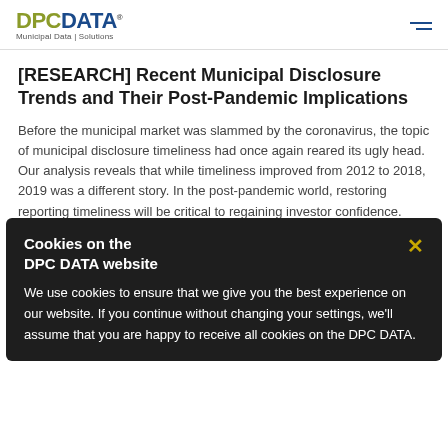DPCDATA Municipal Data | Solutions
[RESEARCH] Recent Municipal Disclosure Trends and Their Post-Pandemic Implications
Before the municipal market was slammed by the coronavirus, the topic of municipal disclosure timeliness had once again reared its ugly head. Our analysis reveals that while timeliness improved from 2012 to 2018, 2019 was a different story. In the post-pandemic world, restoring reporting timeliness will be critical to regaining investor confidence.
Cookies on the DPC DATA website
We use cookies to ensure that we give you the best experience on our website. If you continue without changing your settings, we'll assume that you are happy to receive all cookies on the DPC DATA.
[EMAIL] Sharing COVID-19 Resources
[VIEWS] "The Decade in Review" by Triet Nguyen